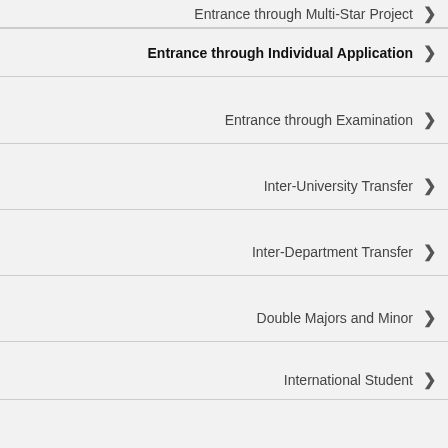Entrance through Multi-Star Project
Entrance through Individual Application
Entrance through Examination
Inter-University Transfer
Inter-Department Transfer
Double Majors and Minor
International Student
more ...
Copyright © 2022 Soochow University
Website Admin | LIN, PO-WEI